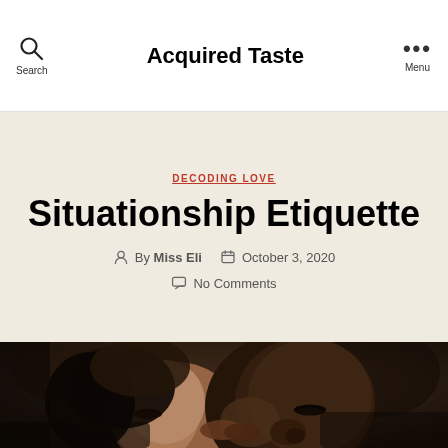Acquired Taste
DECODING LOVE
Situationship Etiquette
By Miss Eli  October 3, 2020  No Comments
[Figure (photo): Close-up photo of a couple sharing a kiss, faces in near profile, warm dark tones]